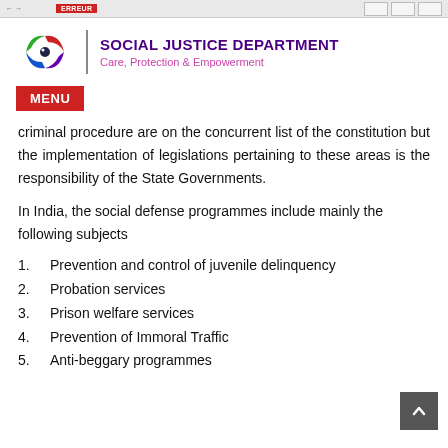SOCIAL JUSTICE DEPARTMENT — Care, Protection & Empowerment
criminal procedure are on the concurrent list of the constitution but the implementation of legislations pertaining to these areas is the responsibility of the State Governments.
In India, the social defense programmes include mainly the following subjects
1. Prevention and control of juvenile delinquency
2. Probation services
3. Prison welfare services
4. Prevention of Immoral Traffic
5. Anti-beggary programmes